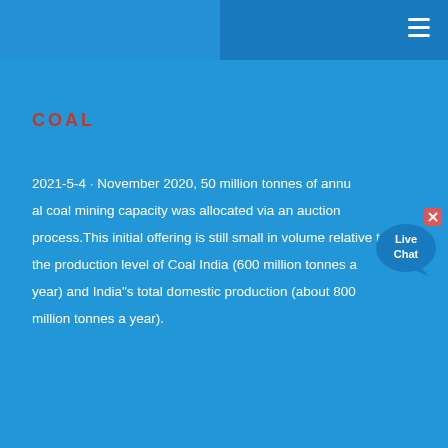COAL
2021-5-4 · November 2020, 50 million tonnes of annual coal mining capacity was allocated via an auction process.This initial offering is still small in volume relative to the production level of Coal India (600 million tonnes a year) and India"s total domestic production (about 800 million tonnes a year).